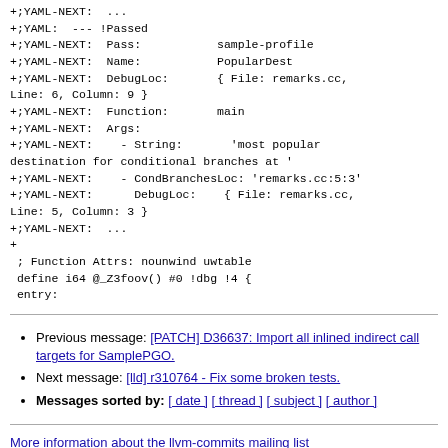+;YAML-NEXT:  ...
+;YAML:  --- !Passed
+;YAML-NEXT:  Pass:           sample-profile
+;YAML-NEXT:  Name:           PopularDest
+;YAML-NEXT:  DebugLoc:       { File: remarks.cc, Line: 6, Column: 9 }
+;YAML-NEXT:  Function:       main
+;YAML-NEXT:  Args:
+;YAML-NEXT:    - String:       'most popular destination for conditional branches at '
+;YAML-NEXT:    - CondBranchesLoc: 'remarks.cc:5:3'
+;YAML-NEXT:      DebugLoc:    { File: remarks.cc, Line: 5, Column: 3 }
+;YAML-NEXT:  ...
+
 ; Function Attrs: nounwind uwtable
 define i64 @_Z3foov() #0 !dbg !4 {
 entry:
Previous message: [PATCH] D36637: Import all inlined indirect call targets for SamplePGO.
Next message: [lld] r310764 - Fix some broken tests.
Messages sorted by: [ date ] [ thread ] [ subject ] [ author ]
More information about the llvm-commits mailing list